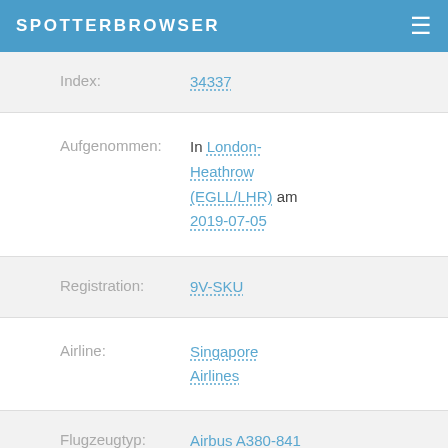SPOTTERBROWSER
| Field | Value |
| --- | --- |
| Index: | 34337 |
| Aufgenommen: | In London-Heathrow (EGLL/LHR) am 2019-07-05 |
| Registration: | 9V-SKU |
| Airline: | Singapore Airlines |
| Flugzeugtyp: | Airbus A380-841 |
| Flugroute: | hier klicken |